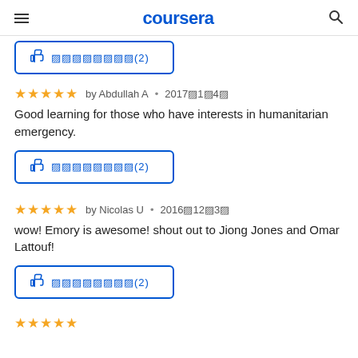coursera
[Figure (other): Like/helpful button with thumbs up icon and encoded text showing (2) helpful votes]
★★★★★ by Abdullah A · 2017年1月4日
Good learning for those who have interests in humanitarian emergency.
[Figure (other): Like/helpful button with thumbs up icon and encoded text showing (2) helpful votes]
★★★★★ by Nicolas U · 2016年12月3日
wow! Emory is awesome! shout out to Jiong Jones and Omar Lattouf!
[Figure (other): Like/helpful button with thumbs up icon and encoded text showing (2) helpful votes]
[Figure (other): Partial star rating visible at bottom of page]